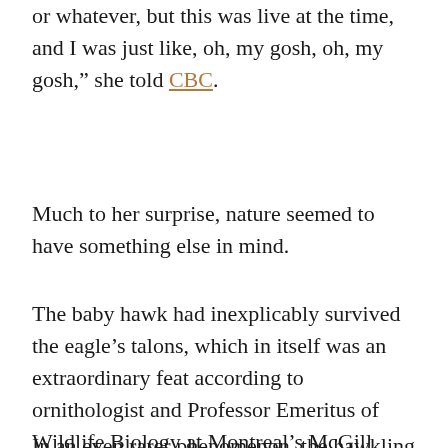or whatever, but this was live at the time, and I was just like, oh, my gosh, oh, my gosh,” she told CBC.
Much to her surprise, nature seemed to have something else in mind.
The baby hawk had inexplicably survived the eagle’s talons, which in itself was an extraordinary feat according to ornithologist and Professor Emeritus of Wildlife Biology at Montreal’s McGill University, David Bird, who shared the story on a segment of the radio show “As It Happens.” Yes, a guy who studies birds has the last name Bird. It’s too perfect.
In an even rarer phenomenon, the hawkling was